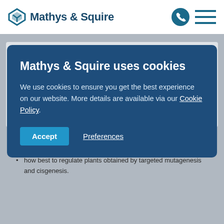Mathys & Squire
Mathys & Squire uses cookies
We use cookies to ensure you get the best experience on our website. More details are available via our Cookie Policy.
Accept | Preferences
The European Commission has opened the public consultation on legislation relating to plants produced by certain new genomic techniques, which is open for submissions until (approximately) July 2022. This public consultation is aimed at all groups, ideas and stakeholders, both inside and outside of the EU, relating to:
the functioning of current genetically modified organisms (GMO) legislation; and
how best to regulate plants obtained by targeted mutagenesis and cisgenesis.